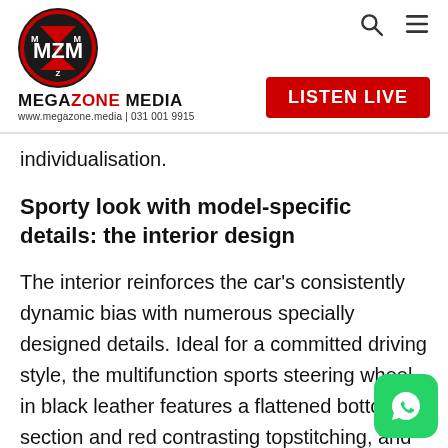[Figure (logo): MegaZone Media logo with circular emblem and brand name, URL, and LISTEN LIVE button]
individualisation.
Sporty look with model-specific details: the interior design
The interior reinforces the car's consistently dynamic bias with numerous specially designed details. Ideal for a committed driving style, the multifunction sports steering wheel in black leather features a flattened bottom section and red contrasting topstitching, and especially well in the hand.